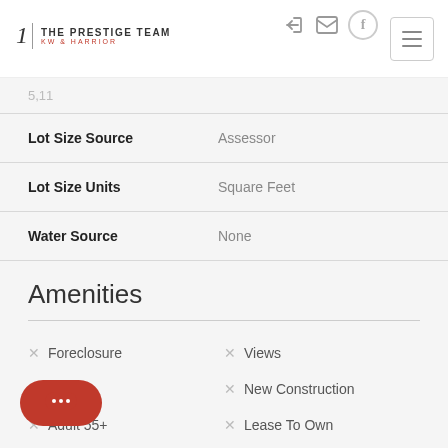The Prestige Team — KW & Harrior
| Property | Value |
| --- | --- |
| Lot Size Source | Assessor |
| Lot Size Units | Square Feet |
| Water Source | None |
Amenities
Foreclosure
Views
New Construction
Adult 55+
Lease To Own